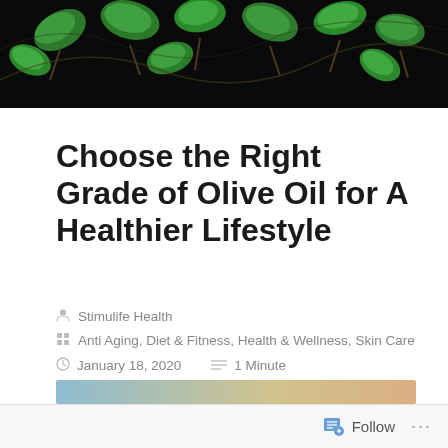[Figure (photo): Dark banner with green illustrated leaves/vines on a black background]
Choose the Right Grade of Olive Oil for A Healthier Lifestyle
Stimulife Health
Anti Aging, Diet & Fitness, Health & Wellness, Skin Care
January 18, 2020   1 Minute
[Figure (photo): Partial thumbnail image visible at the bottom of the page]
Follow ...